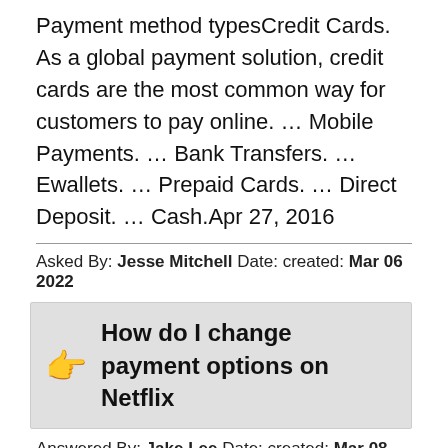Payment method typesCredit Cards. As a global payment solution, credit cards are the most common way for customers to pay online. … Mobile Payments. … Bank Transfers. … Ewallets. … Prepaid Cards. … Direct Deposit. … Cash.Apr 27, 2016
Asked By: Jesse Mitchell Date: created: Mar 06 2022
How do I change payment options on Netflix
Answered By: Jake Lee Date: created: Mar 08 2022
Click Sign In, then enter your email address and password if you're not logged in automatically.Click the main profile. It's usually your first name.Click